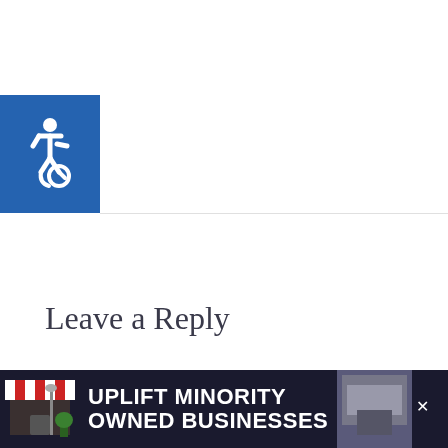[Figure (logo): Blue square with white wheelchair accessibility icon (ISA symbol)]
Leave a Reply
Your email address will not be published. Required fields are marked *
Comment *
[Figure (infographic): Teal circular heart/like button with heart icon, showing count of 1 below]
[Figure (infographic): White circular share button with share icon]
[Figure (infographic): What's Next card showing Dollar General Matchups article thumbnail and text]
[Figure (infographic): Advertisement banner: UPLIFT MINORITY OWNED BUSINESSES with store illustration on dark background]